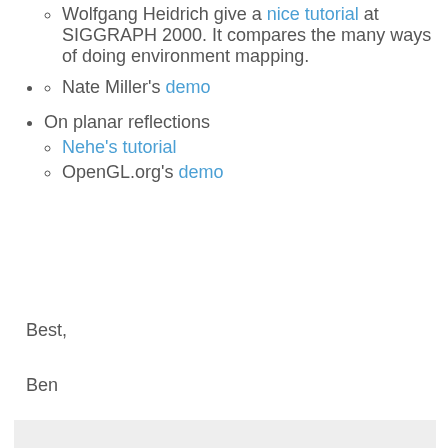Wolfgang Heidrich give a nice tutorial at SIGGRAPH 2000. It compares the many ways of doing environment mapping.
Nate Miller's demo
On planar reflections
Nehe's tutorial
OpenGL.org's demo
Best,
Ben
Home